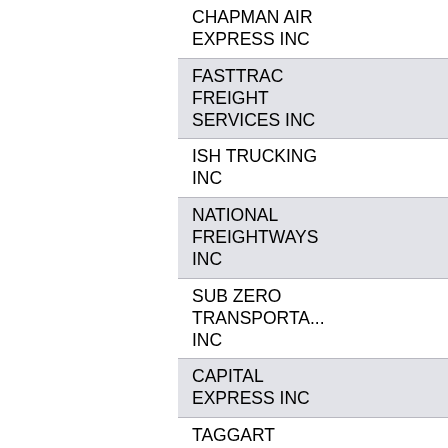CHAPMAN AIR EXPRESS INC
FASTTRAC FREIGHT SERVICES INC
ISH TRUCKING INC
NATIONAL FREIGHTWAYS INC
SUB ZERO TRANSPORTATION INC
CAPITAL EXPRESS INC
TAGGART TRANSPORTATION LTD
TAGGART TRANSPORTATION LTD
J E M TRANSPORTATION